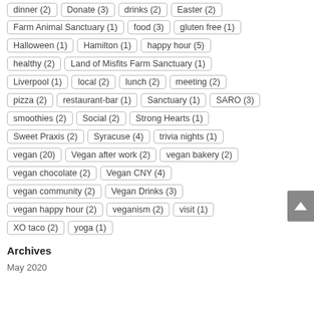dinner (2)
Donate (3)
drinks (2)
Easter (2)
Farm Animal Sanctuary (1)
food (3)
gluten free (1)
Halloween (1)
Hamilton (1)
happy hour (5)
healthy (2)
Land of Misfits Farm Sanctuary (1)
Liverpool (1)
local (2)
lunch (2)
meeting (2)
pizza (2)
restaurant-bar (1)
Sanctuary (1)
SARO (3)
smoothies (2)
Social (2)
Strong Hearts (1)
Sweet Praxis (2)
Syracuse (4)
trivia nights (1)
vegan (20)
Vegan after work (2)
vegan bakery (2)
vegan chocolate (2)
Vegan CNY (4)
vegan community (2)
Vegan Drinks (3)
vegan happy hour (2)
veganism (2)
visit (1)
XO taco (2)
yoga (1)
Archives
May 2020